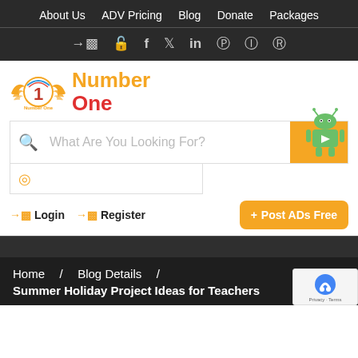About Us  ADV Pricing  Blog  Donate  Packages
→ 🔓 f 🐦 in 𝗽 📷 🔴
[Figure (logo): Number One logo with orange wings and red number 1, text 'Number One' in orange and red]
What Are You Looking For?
[Figure (illustration): Android robot mascot on orange background]
→ Login  → Register
+ Post ADs Free
Home  /  Blog Details  /  Summer Holiday Project Ideas for Teachers